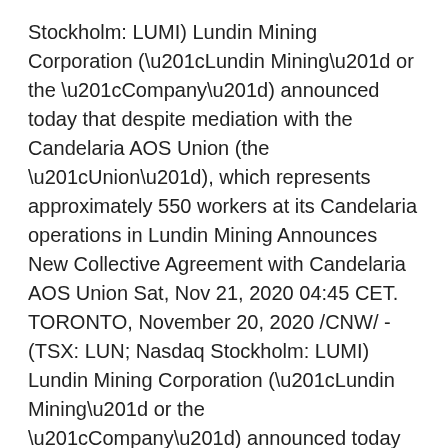Stockholm: LUMI) Lundin Mining Corporation (“Lundin Mining” or the “Company”) announced today that despite mediation with the Candelaria AOS Union (the “Union”), which represents approximately 550 workers at its Candelaria operations in Lundin Mining Announces New Collective Agreement with Candelaria AOS Union Sat, Nov 21, 2020 04:45 CET. TORONTO, November 20, 2020 /CNW/ - (TSX: LUN; Nasdaq Stockholm: LUMI) Lundin Mining Corporation (“Lundin Mining” or the “Company”) announced today the Candelaria AOS Union (the “Union”), which represents approximately 550 workers at its Candelaria operations in Chile, has 2020-10-08 03:00:00 Lundin Mining Corporation: Lundin Mining Reports on Labour Action at Candelaria-0,76% | 45.0 MSEK 2020-09-30 23:00:00 Lundin Mining